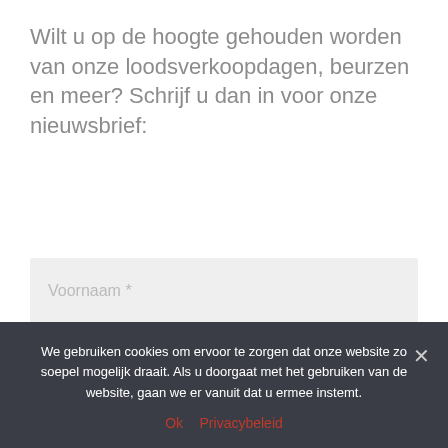Wilt u op de hoogte gehouden worden van onze loodsverkoopdagen, beurzen en meer? Schrijf u dan in voor onze nieuwsbrief:
[Figure (other): Form input field with placeholder text 'Voornaam *']
[Figure (other): Form input field with placeholder text 'Achternaam *']
[Figure (other): Form input field with placeholder text 'E-mail *']
We gebruiken cookies om ervoor te zorgen dat onze website zo soepel mogelijk draait. Als u doorgaat met het gebruiken van de website, gaan we er vanuit dat u ermee instemt.
Ok   Privacybeleid